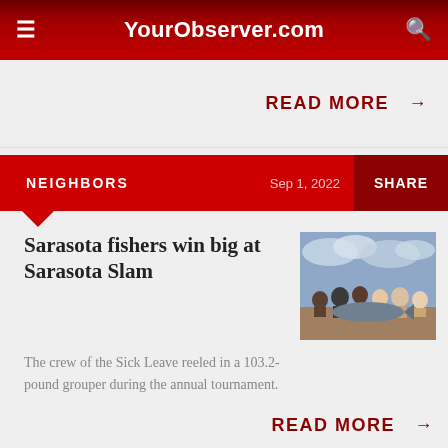YourObserver.com
READ MORE →
NEIGHBORS    Sep 1, 2022    SHARE
Sarasota fishers win big at Sarasota Slam
[Figure (photo): Group of fishermen on a boat holding a large grouper fish, with cloudy sky in background]
The crew of the Sick Leave reeled in a 103.2-pound grouper during the annual tournament.
READ MORE →